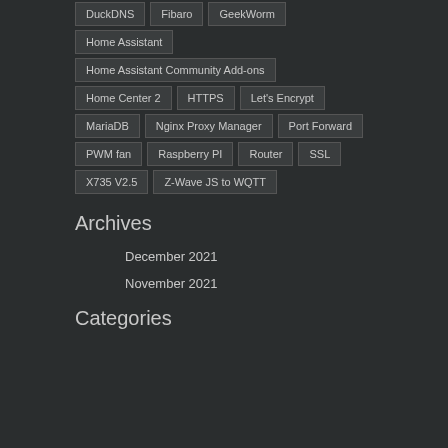DuckDNS
Fibaro
GeekWorm
Home Assistant
Home Assistant Community Add-ons
Home Center 2
HTTPS
Let's Encrypt
MariaDB
Nginx Proxy Manager
Port Forward
PWM fan
Raspberry PI
Router
SSL
X735 V2.5
Z-Wave JS to WQTT
Archives
December 2021
November 2021
Categories